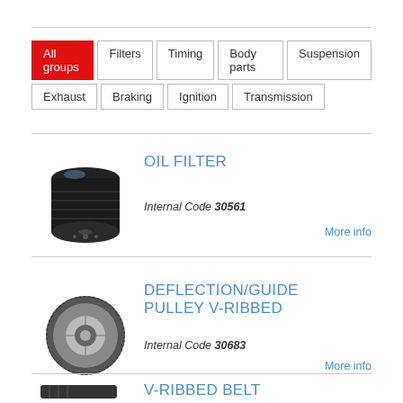All groups
Filters
Timing
Body parts
Suspension
Exhaust
Braking
Ignition
Transmission
[Figure (photo): Oil filter - cylindrical black metal filter]
OIL FILTER
Internal Code 30561
More info
[Figure (photo): Deflection/guide pulley - round pulley with ribbed edge]
DEFLECTION/GUIDE PULLEY V-RIBBED
Internal Code 30683
More info
[Figure (photo): V-ribbed belt - partial view]
V-RIBBED BELT